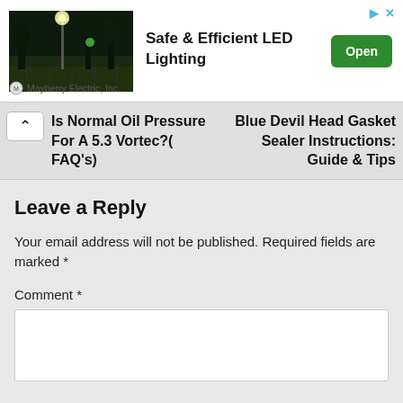[Figure (photo): Advertisement banner with night photo of LED street lights over a parking lot, text 'Safe & Efficient LED Lighting', Open button, and Mayberry Electric, Inc. company name]
Is Normal Oil Pressure For A 5.3 Vortec?( FAQ's)
Blue Devil Head Gasket Sealer Instructions: Guide & Tips
Leave a Reply
Your email address will not be published. Required fields are marked *
Comment *